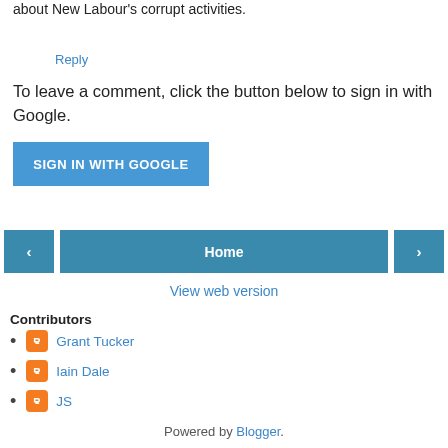about New Labour's corrupt activities.
Reply
To leave a comment, click the button below to sign in with Google.
[Figure (other): Blue 'SIGN IN WITH GOOGLE' button]
[Figure (other): Navigation bar with left arrow button, Home button, and right arrow button]
View web version
Contributors
Grant Tucker
Iain Dale
JS
Powered by Blogger.